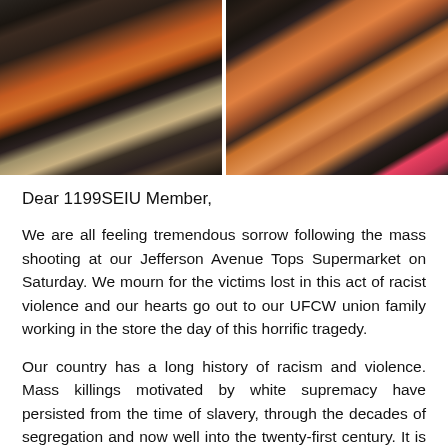[Figure (photo): Two side-by-side photos of a crowd of people gathered, likely at a vigil or community event. Left photo shows people from behind in warm daylight. Right photo shows a person with braided hair in a pink top.]
Dear 1199SEIU Member,
We are all feeling tremendous sorrow following the mass shooting at our Jefferson Avenue Tops Supermarket on Saturday. We mourn for the victims lost in this act of racist violence and our hearts go out to our UFCW union family working in the store the day of this horrific tragedy.
Our country has a long history of racism and violence. Mass killings motivated by white supremacy have persisted from the time of slavery, through the decades of segregation and now well into the twenty-first century. It is more than a series of random horrific events. It is an